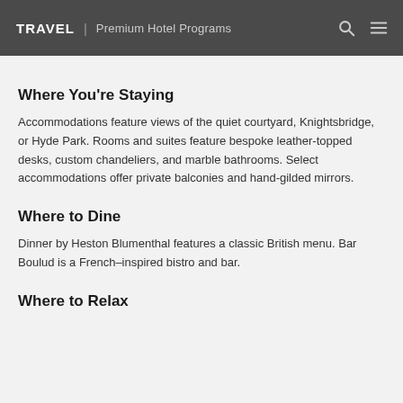TRAVEL | Premium Hotel Programs
Where You're Staying
Accommodations feature views of the quiet courtyard, Knightsbridge, or Hyde Park. Rooms and suites feature bespoke leather-topped desks, custom chandeliers, and marble bathrooms. Select accommodations offer private balconies and hand-gilded mirrors.
Where to Dine
Dinner by Heston Blumenthal features a classic British menu. Bar Boulud is a French–inspired bistro and bar.
Where to Relax